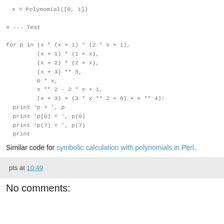x = Polynomial([0, 1])

# --- Test

for p in (x * (x + 1) * (2 * x + 1),
         (x + 1) * (1 + x),
         (x + 2) * (2 + x),
         (x + 3) ** 5,
         0 * x,
         x ** 2 - 2 * x + 1,
         (x + 3) + (3 * x ** 2 + 6) + x ** 4):
  print 'p = ', p
  print 'p(0) = ', p(0)
  print 'p(7) = ', p(7)
  print
Similar code for symbolic calculation with polynomials in Perl.
pts at 10:49
No comments: